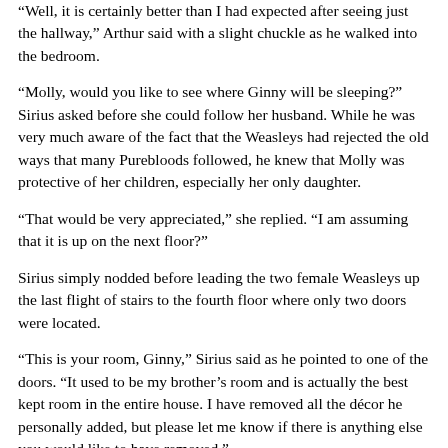“Well, it is certainly better than I had expected after seeing just the hallway,” Arthur said with a slight chuckle as he walked into the bedroom.
“Molly, would you like to see where Ginny will be sleeping?” Sirius asked before she could follow her husband. While he was very much aware of the fact that the Weasleys had rejected the old ways that many Purebloods followed, he knew that Molly was protective of her children, especially her only daughter.
“That would be very appreciated,” she replied. “I am assuming that it is up on the next floor?”
Sirius simply nodded before leading the two female Weasleys up the last flight of stairs to the fourth floor where only two doors were located.
“This is your room, Ginny,” Sirius said as he pointed to one of the doors. “It used to be my brother’s room and is actually the best kept room in the entire house. I have removed all the décor he personally added, but please let me know if there is anything else you would like to have removed.”
“Thank you,” Ginny politely replied.